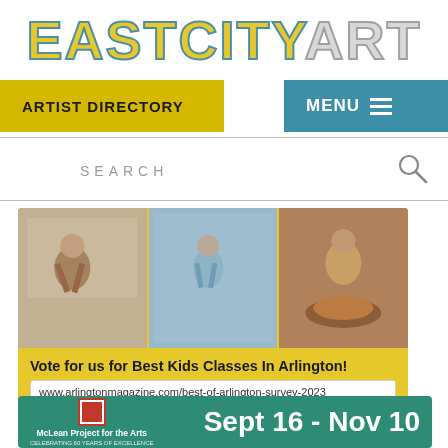EASTCITYART
ARTIST DIRECTORY
MENU
SEARCH
[Figure (photo): Advertisement banner with yellow background showing three photos of children doing art activities — painting and pottery — with text 'Vote for us for Best Kids Classes In Arlington!' and URL www.arlingtonmagazine.com/best-of-arlington-survey-2023]
[Figure (photo): Advertisement banner for McLean Project for the Arts with teal/green background showing 'Sept 16 - Nov 10' and logo with '60 Years of Excellence']